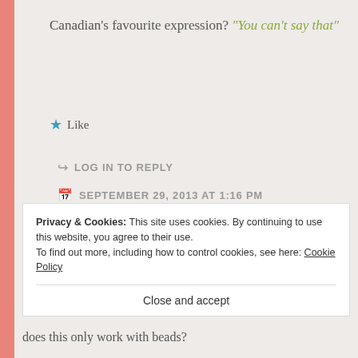Canadian's favourite expression? "You can't say that"
★ Like
↪ LOG IN TO REPLY
📅 SEPTEMBER 29, 2013 AT 1:16 PM
Maggie
[Figure (logo): Circular avatar icon with dark red and white checker-like pattern]
Privacy & Cookies: This site uses cookies. By continuing to use this website, you agree to their use. To find out more, including how to control cookies, see here: Cookie Policy
Close and accept
does this only work with beads?